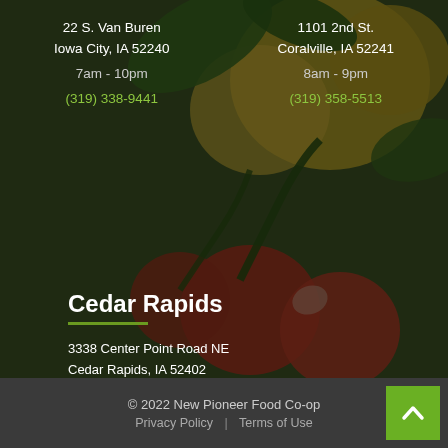22 S. Van Buren
Iowa City, IA 52240
7am - 10pm
(319) 338-9441
1101 2nd St.
Coralville, IA 52241
8am - 9pm
(319) 358-5513
Cedar Rapids
3338 Center Point Road NE
Cedar Rapids, IA 52402
8am - 8pm
(319) 365-2632
© 2022 New Pioneer Food Co-op
Privacy Policy | Terms of Use